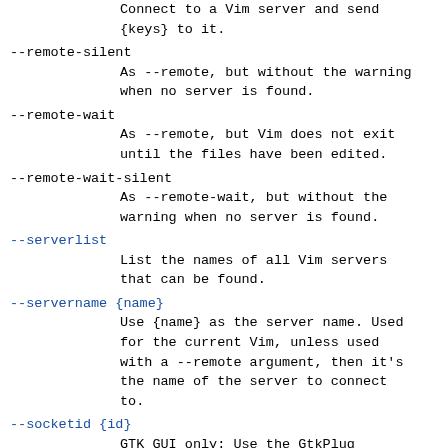Connect to a Vim server and send {keys} to it.
--remote-silent
            As --remote, but without the warning when no server is found.
--remote-wait
            As --remote, but Vim does not exit until the files have been edited.
--remote-wait-silent
            As --remote-wait, but without the warning when no server is found.
--serverlist
            List the names of all Vim servers that can be found.
--servername {name}
            Use {name} as the server name. Used for the current Vim, unless used with a --remote argument, then it's the name of the server to connect to.
--socketid {id}
            GTK GUI only: Use the GtkPlug mechanism to run gvim in another